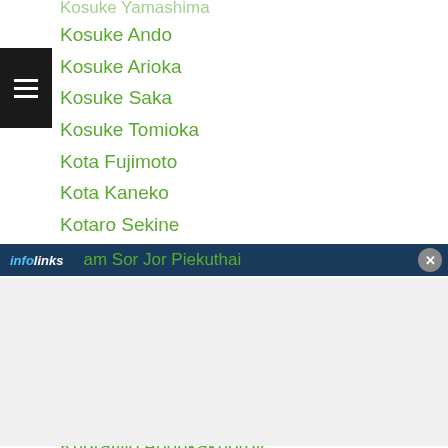Kosuke Ando
Kosuke Arioka
Kosuke Saka
Kosuke Tomioka
Kota Fujimoto
Kota Kaneko
Kotaro Sekine
Kota Tokunaga
Kotatsu Takehara
Kotoji Irita
Koyo Nakagawa
Kozumbek Mardonov
Krikanok-islandmuaythai
Kudratillo Abdukakhorov
Kudura Kaneko
am Sor Jor Piekuthai